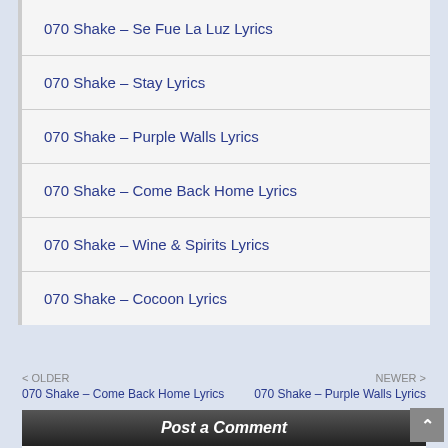070 Shake – Se Fue La Luz Lyrics
070 Shake – Stay Lyrics
070 Shake – Purple Walls Lyrics
070 Shake – Come Back Home Lyrics
070 Shake – Wine & Spirits Lyrics
070 Shake – Cocoon Lyrics
< OLDER
070 Shake – Come Back Home Lyrics
NEWER >
070 Shake – Purple Walls Lyrics
Post a Comment
0 Comments